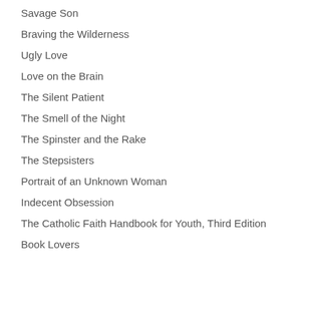Savage Son
Braving the Wilderness
Ugly Love
Love on the Brain
The Silent Patient
The Smell of the Night
The Spinster and the Rake
The Stepsisters
Portrait of an Unknown Woman
Indecent Obsession
The Catholic Faith Handbook for Youth, Third Edition
Book Lovers